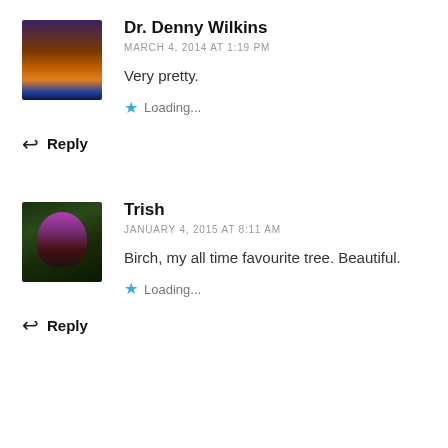[Figure (photo): Avatar photo of Dr. Denny Wilkins showing a sunset landscape with orange and purple sky]
Dr. Denny Wilkins
MARCH 4, 2014 AT 1:19 PM
Very pretty.
Loading...
Reply
[Figure (photo): Avatar photo of Trish showing a woman with purple hair against a dark green background]
Trish
JANUARY 4, 2015 AT 8:11 AM
Birch, my all time favourite tree. Beautiful.
Loading...
Reply